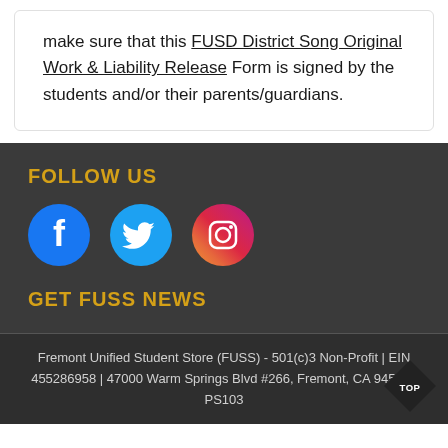make sure that this FUSD District Song Original Work & Liability Release Form is signed by the students and/or their parents/guardians.
FOLLOW US
[Figure (illustration): Three social media icons: Facebook (blue circle), Twitter (light blue circle), Instagram (pink/red circle with camera icon)]
GET FUSS NEWS
Fremont Unified Student Store (FUSS) - 501(c)3 Non-Profit | EIN 455286958 | 47000 Warm Springs Blvd #266, Fremont, CA 94539 | PS103